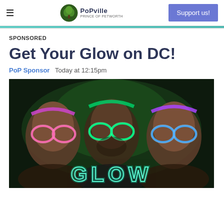≡  PoPville  Support us!
SPONSORED
Get Your Glow on DC!
PoP Sponsor   Today at 12:15pm
[Figure (photo): Three people wearing glowing neon glasses (pink, green, blue/purple) at a glow party event in a dark setting. The word GLOW is displayed in glowing teal letters at the bottom of the image.]